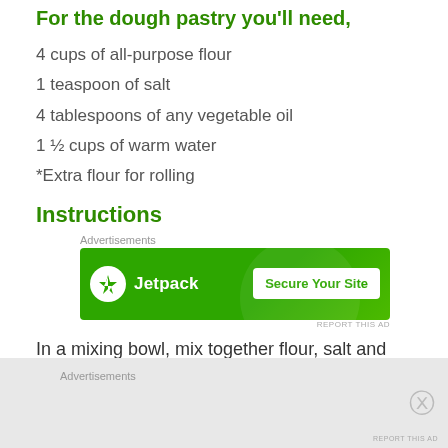For the dough pastry you'll need,
4 cups of all-purpose flour
1 teaspoon of salt
4 tablespoons of any vegetable oil
1 ½ cups of warm water
*Extra flour for rolling
Instructions
[Figure (other): Jetpack advertisement banner with 'Secure Your Site' button on green background]
In a mixing bowl, mix together flour, salt and vegetable
[Figure (other): Bottom advertisements bar with gray background and close button]